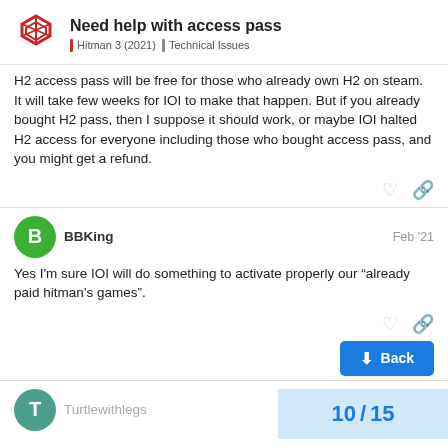Need help with access pass | Hitman 3 (2021) | Technical Issues
H2 access pass will be free for those who already own H2 on steam. It will take few weeks for IOI to make that happen. But if you already bought H2 pass, then I suppose it should work, or maybe IOI halted H2 access for everyone including those who bought access pass, and you might get a refund.
BBKing  Feb '21
Yes I'm sure IOI will do something to activate properly our “already paid hitman's games”.
Turtlewithlegs  Feb '21